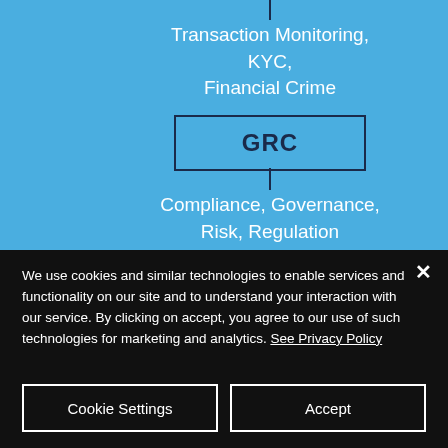[Figure (flowchart): Partial organizational/flowchart diagram on blue background showing: 'Transaction Monitoring, KYC, Financial Crime' connected via vertical line to a box labeled 'GRC', which connects via vertical line to 'Compliance, Governance, Risk, Regulation']
We use cookies and similar technologies to enable services and functionality on our site and to understand your interaction with our service. By clicking on accept, you agree to our use of such technologies for marketing and analytics. See Privacy Policy